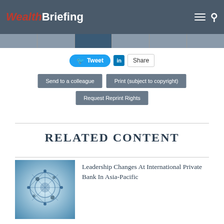WealthBriefing
[Figure (screenshot): Social share buttons: Tweet (Twitter) and Share (LinkedIn)]
Send to a colleague | Print (subject to copyright) | Request Reprint Rights
RELATED CONTENT
[Figure (photo): Abstract blue circular network/gears image used as article thumbnail]
Leadership Changes At International Private Bank In Asia-Pacific